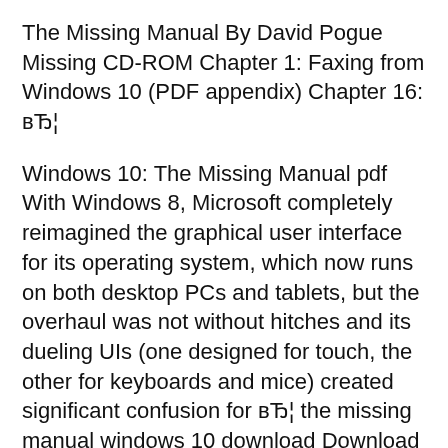The Missing Manual By David Pogue Missing CD-ROM Chapter 1: Faxing from Windows 10 (PDF appendix) Chapter 16: вЂ¦
Windows 10: The Missing Manual pdf With Windows 8, Microsoft completely reimagined the graphical user interface for its operating system, which now runs on both desktop PCs and tablets, but the overhaul was not without hitches and its dueling UIs (one designed for touch, the other for keyboards and mice) created significant confusion for вЂ¦ the missing manual windows 10 download Download the missing manual windows 10 download or read online here in PDF or EPUB.